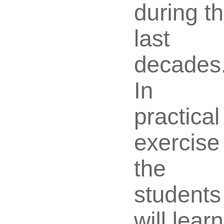during the last decades. In practical exercise the students will learn the development with web technologies and will understand the power as well as the shortcomings of each technology. the first half of this